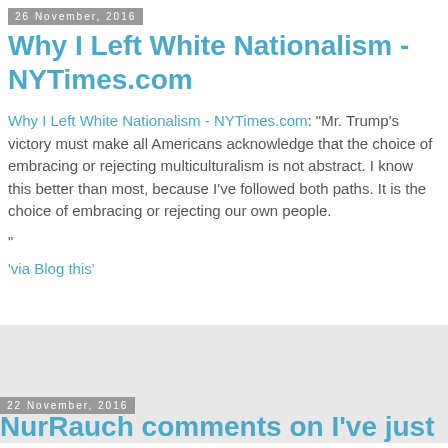26 November, 2016
Why I Left White Nationalism - NYTimes.com
Why I Left White Nationalism - NYTimes.com: "Mr. Trump's victory must make all Americans acknowledge that the choice of embracing or rejecting multiculturalism is not abstract. I know this better than most, because I’ve followed both paths. It is the choice of embracing or rejecting our own people.
"
'via Blog this'
22 November, 2016
NurRauch comments on I've just been